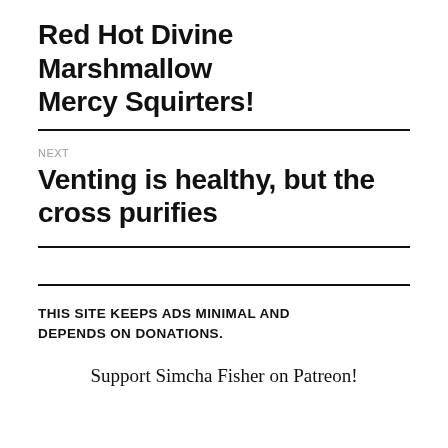Red Hot Divine Marshmallow Mercy Squirters!
NEXT
Venting is healthy, but the cross purifies
THIS SITE KEEPS ADS MINIMAL AND DEPENDS ON DONATIONS.
Support Simcha Fisher on Patreon!